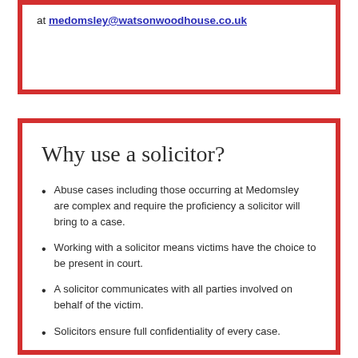at medomsley@watsonwoodhouse.co.uk
Why use a solicitor?
Abuse cases including those occurring at Medomsley are complex and require the proficiency a solicitor will bring to a case.
Working with a solicitor means victims have the choice to be present in court.
A solicitor communicates with all parties involved on behalf of the victim.
Solicitors ensure full confidentiality of every case.